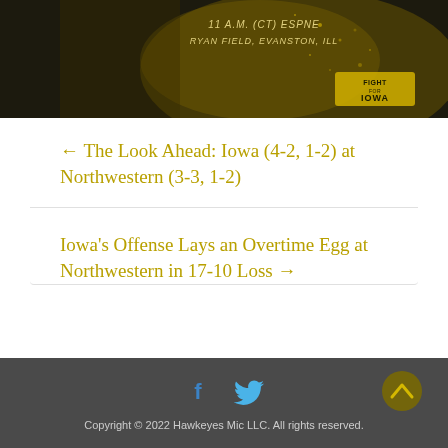[Figure (photo): Iowa Hawkeyes football promotional image with player in gold uniform, text '11 A.M. (CT) ESPNE RYAN FIELD, EVANSTON, ILL' and 'FIGHT FOR IOWA' logo on dark background]
← The Look Ahead: Iowa (4-2, 1-2) at Northwestern (3-3, 1-2)
Iowa's Offense Lays an Overtime Egg at Northwestern in 17-10 Loss →
Copyright © 2022 Hawkeyes Mic LLC. All rights reserved.